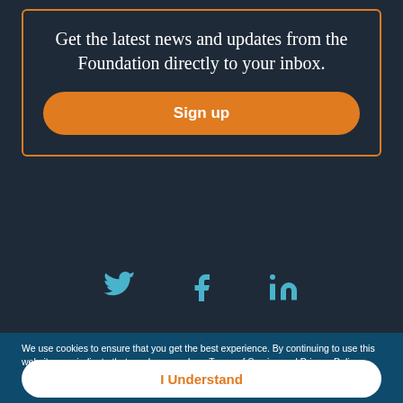Get the latest news and updates from the Foundation directly to your inbox.
Sign up
[Figure (other): Social media icons: Twitter (bird), Facebook (f), LinkedIn (in) in teal/cyan color on dark background]
We use cookies to ensure that you get the best experience. By continuing to use this website, you indicate that you have read our Terms of Service and Privacy Policy.
I Understand